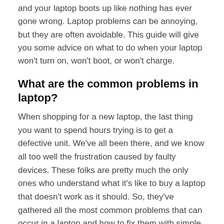and your laptop boots up like nothing has ever gone wrong. Laptop problems can be annoying, but they are often avoidable. This guide will give you some advice on what to do when your laptop won't turn on, won't boot, or won't charge.
What are the common problems in laptop?
When shopping for a new laptop, the last thing you want to spend hours trying is to get a defective unit. We've all been there, and we know all too well the frustration caused by faulty devices. These folks are pretty much the only ones who understand what it's like to buy a laptop that doesn't work as it should. So, they've gathered all the most common problems that can occur in a laptop and how to fix them with simple DIY solutions. Faced with a problem with your laptop, you feel lost, and you don't know where to start. Here's a list of common problems and how to fix them. Here are some simple ways you can